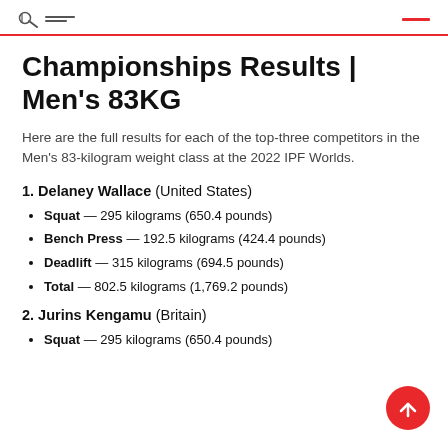Championships Results | Men's 83KG
Championships Results | Men's 83KG
Here are the full results for each of the top-three competitors in the Men's 83-kilogram weight class at the 2022 IPF Worlds.
1. Delaney Wallace (United States)
Squat — 295 kilograms (650.4 pounds)
Bench Press — 192.5 kilograms (424.4 pounds)
Deadlift — 315 kilograms (694.5 pounds)
Total — 802.5 kilograms (1,769.2 pounds)
2. Jurins Kengamu (Britain)
Squat — 295 kilograms (650.4 pounds)